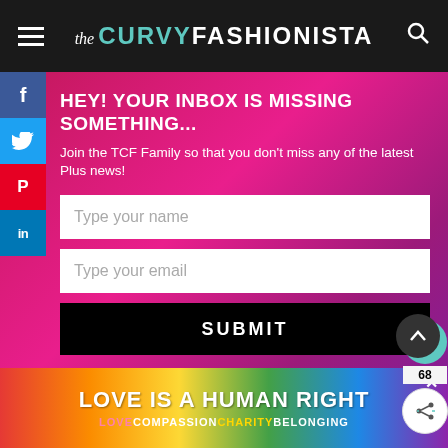the CURVY FASHIONISTA
HEY! YOUR INBOX IS MISSING SOMETHING...
Join the TCF Family so that you don't miss any of the latest Plus news!
Type your name
Type your email
SUBMIT
WHAT'S NEXT → BREAKING: Torrid...
PREVIOUS POST
LOVE IS A HUMAN RIGHT
LOVE COMPASSION CHARITY BELONGING